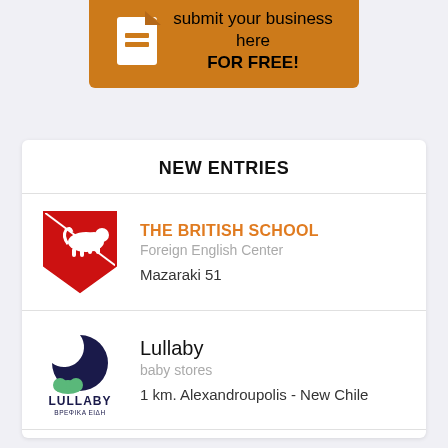[Figure (infographic): Orange banner with document icon and text 'submit your business here FOR FREE!']
NEW ENTRIES
[Figure (logo): The British School red heraldic shield logo]
THE BRITISH SCHOOL
Foreign English Center
Mazaraki 51
[Figure (logo): Lullaby baby stores logo with dark moon and green cloud]
Lullaby
baby stores
1 km. Alexandroupolis - New Chile